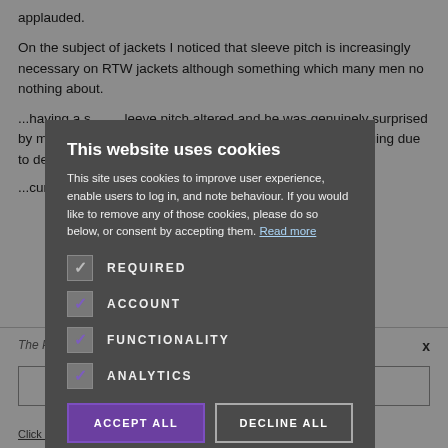applauded.
On the subject of jackets I noticed that sleeve pitch is increasingly necessary on RTW jackets although something which many men no nothing about.
...having a sleeve pitch altered and he was genuinely surprised by my enquiry. Giannetti's posture was also strangely changing due to desk behaviour...men on this.
...currently
This website uses cookies
This site uses cookies to improve user experience, enable users to log in, and note behaviour. If you would like to remove any of those cookies, please do so below, or consent by accepting them. Read more
REQUIRED
ACCOUNT
FUNCTIONALITY
ANALYTICS
The Permanent Style Newsletter
x
CLICK HERE TO REGISTER
Click here to read our Privacy Policy